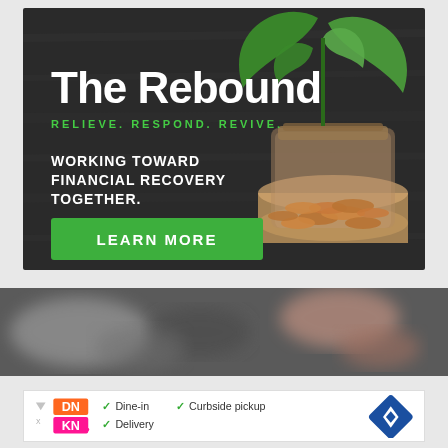[Figure (infographic): The Rebound advertisement banner. Dark wood background with a glass jar filled with coins and a green plant growing out of it. Text reads 'The Rebound', 'RELIEVE. RESPOND. REVIVE.', 'WORKING TOWARD FINANCIAL RECOVERY TOGETHER.' with a green 'LEARN MORE' button.]
[Figure (photo): Blurred photo strip showing indistinct objects on a dark background]
[Figure (infographic): Dunkin' Donuts advertisement. DN KN logo in orange/pink with checkmarks listing: Dine-in, Curbside pickup, Delivery. Blue diamond navigation icon on right.]